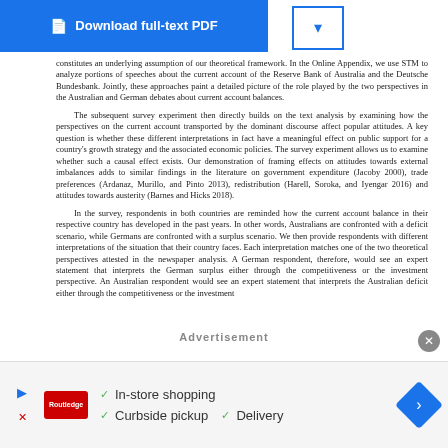[Figure (other): Blue 'Download full-text PDF' button with dropdown arrow]
constitutes an underlying assumption of our theoretical framework. In the Online Appendix, we use STM to analyze portions of speeches about the current account of the Reserve Bank of Australia and the Deutsche Bundesbank. Jointly, these approaches paint a detailed picture of the role played by the two perspectives in the Australian and German debates about current account balances.
The subsequent survey experiment then directly builds on the text analysis by examining how the perspectives on the current account transported by the dominant discourse affect popular attitudes. A key question is whether these different interpretations in fact have a meaningful effect on public support for a country's growth strategy and the associated economic policies. The survey experiment allows us to examine whether such a causal effect exists. Our demonstration of framing effects on attitudes towards external imbalances adds to similar findings in the literature on government expenditure (Jacoby 2000), trade preferences (Ardanaz, Murillo, and Pinto 2013), redistribution (Harell, Soroka, and Iyengar 2016) and attitudes towards austerity (Barnes and Hicks 2018).
In the survey, respondents in both countries are reminded how the current account balance in their respective country has developed in the past years. In other words, Australians are confronted with a deficit scenario, while Germans are confronted with a surplus scenario. We then provide respondents with different interpretations of the situation that their country faces. Each interpretation matches one of the two theoretical perspectives attested in the newspaper analysis. A German respondent, therefore, would see an expert statement that interprets the German surplus either through the competitiveness or the investment perspective. An Australian respondent would see an expert statement that interprets the Australian deficit either through the competitiveness or the investment
Advertisement
[Figure (other): Advertisement banner with Routledge logo, checkmarks for In-store shopping, Curbside pickup, Delivery, and a blue diamond navigation icon]